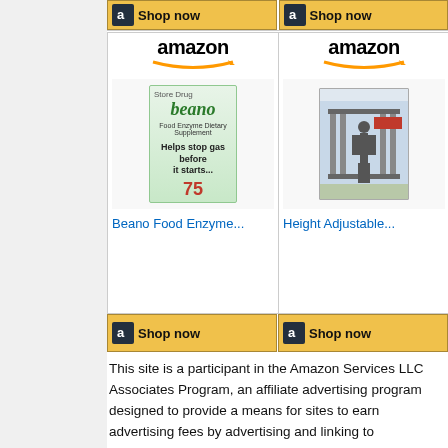[Figure (screenshot): Amazon product widget showing two products: Beano Food Enzyme and Height Adjustable item, with Shop now buttons and Amazon logos]
This site is a participant in the Amazon Services LLC Associates Program, an affiliate advertising program designed to provide a means for sites to earn advertising fees by advertising and linking to Amazon.com. Some links may be affiliate links. We may get paid if you buy something or take an action after clicking one of these.